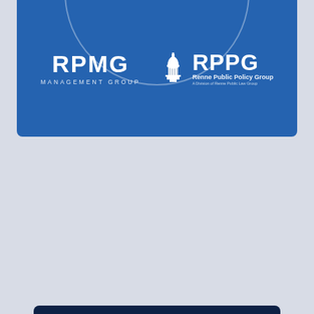[Figure (logo): RPMG Management Group and RPPG Renne Public Policy Group logos on blue banner with arc decoration]
Supporting communities through innovative public financing solutions
To learn more, contact